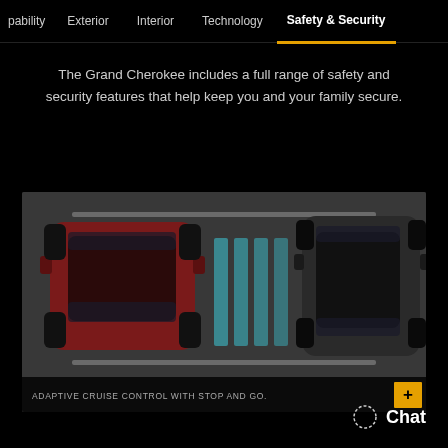pability  Exterior  Interior  Technology  Safety & Security
The Grand Cherokee includes a full range of safety and security features that help keep you and your family secure.
[Figure (illustration): Top-down view of two SUVs on a road. The left SUV is red/dark red, the right SUV is dark/black. Between them are four vertical cyan/teal bars representing adaptive cruise control sensor signals.]
ADAPTIVE CRUISE CONTROL WITH STOP AND GO.
Chat